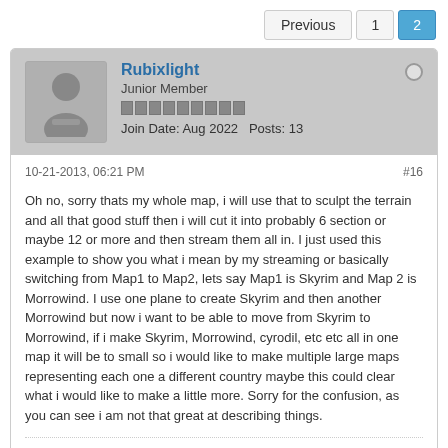Previous  1  2
Rubixlight
Junior Member
Join Date: Aug 2022  Posts: 13
10-21-2013, 06:21 PM  #16
Oh no, sorry thats my whole map, i will use that to sculpt the terrain and all that good stuff then i will cut it into probably 6 section or maybe 12 or more and then stream them all in. I just used this example to show you what i mean by my streaming or basically switching from Map1 to Map2, lets say Map1 is Skyrim and Map 2 is Morrowind. I use one plane to create Skyrim and then another Morrowind but now i want to be able to move from Skyrim to Morrowind, if i make Skyrim, Morrowind, cyrodil, etc etc all in one map it will be to small so i would like to make multiple large maps representing each one a different country maybe this could clear what i would like to make a little more. Sorry for the confusion, as you can see i am not that great at describing things.